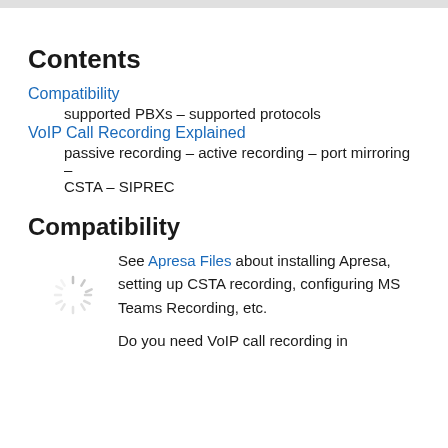Contents
Compatibility
supported PBXs – supported protocols
VoIP Call Recording Explained
passive recording – active recording – port mirroring – CSTA – SIPREC
Compatibility
See Apresa Files about installing Apresa, setting up CSTA recording, configuring MS Teams Recording, etc.
Do you need VoIP call recording in